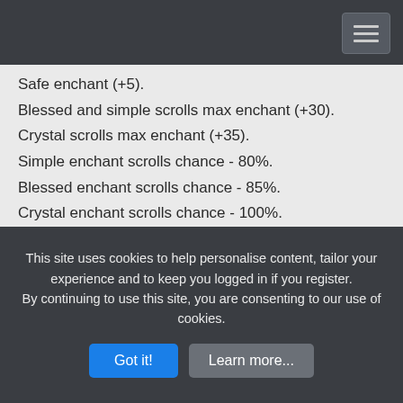Safe enchant (+5).
Blessed and simple scrolls max enchant (+30).
Crystal scrolls max enchant (+35).
Simple enchant scrolls chance - 80%.
Blessed enchant scrolls chance - 85%.
Crystal enchant scrolls chance - 100%.
Unique features:
Main town - Aden.
castle sieges.
Unique aden system.
Wedding system.
Unique farming zones.
This site uses cookies to help personalise content, tailor your experience and to keep you logged in if you register.
By continuing to use this site, you are consenting to our use of cookies.